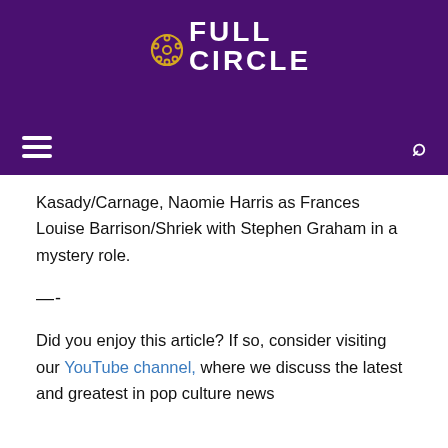FULL CIRCLE
Kasady/Carnage, Naomie Harris as Frances Louise Barrison/Shriek with Stephen Graham in a mystery role.
—-
Did you enjoy this article? If so, consider visiting our YouTube channel, where we discuss the latest and greatest in pop culture news